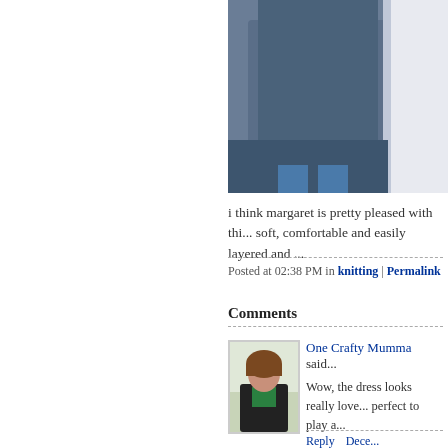[Figure (photo): Photo of a person wearing a blue knitted sweater/dress with a red accent at the top, standing against a light background. Lower half shows blue jeans or leggings.]
i think margaret is pretty pleased with thi... soft, comfortable and easily layered and ...
Posted at 02:38 PM in knitting | Permalink
Comments
[Figure (photo): Avatar photo of a woman with brown hair wearing a dark blazer over a green shirt, standing with hand on hip.]
One Crafty Mumma said...
Wow, the dress looks really love... perfect to play a...
Reply   Dece...